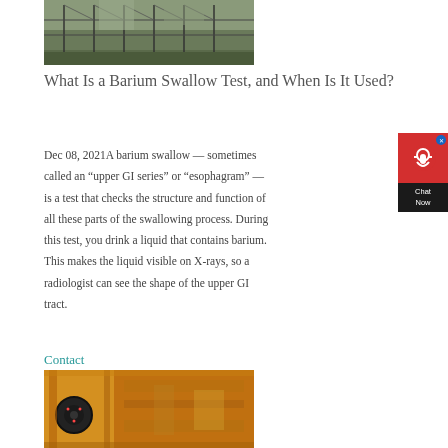[Figure (photo): Industrial/mechanical structure photographed outdoors, showing metal framework or scaffolding]
What Is a Barium Swallow Test, and When Is It Used?
Dec 08, 2021A barium swallow — sometimes called an “upper GI series” or “esophagram” — is a test that checks the structure and function of all these parts of the swallowing process. During this test, you drink a liquid that contains barium. This makes the liquid visible on X-rays, so a radiologist can see the shape of the upper GI tract.
[Figure (other): Chat Now widget — red circle with headset icon, dark background with Chat Now text]
Contact
[Figure (photo): Yellow industrial machinery or equipment, appears to be a large mechanical crusher or mining/construction machine]